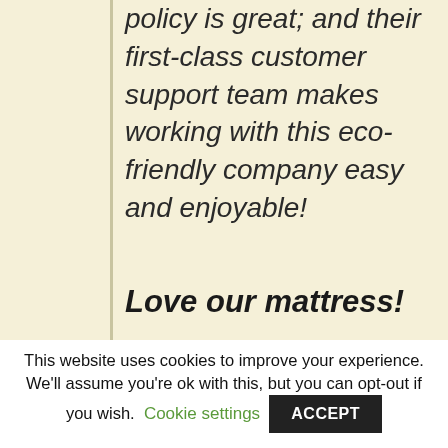Brentwood's sleep trial policy is great; and their first-class customer support team makes working with this eco-friendly company easy and enjoyable!
Love our mattress!
This website uses cookies to improve your experience. We'll assume you're ok with this, but you can opt-out if you wish. Cookie settings ACCEPT